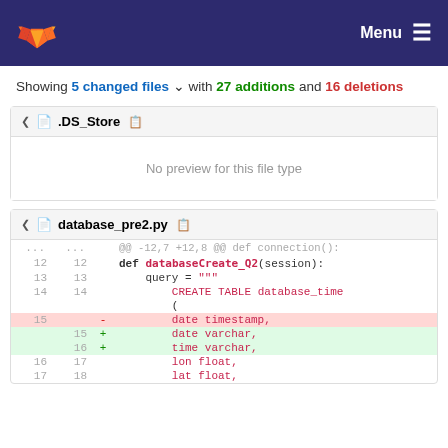GitLab — Menu
Showing 5 changed files with 27 additions and 16 deletions
.DS_Store
No preview for this file type
database_pre2.py
| old | new | marker | code |
| --- | --- | --- | --- |
| ... | ... |  | @@ -12,7 +12,8 @@ def connection(): |
| 12 | 12 |  | def databaseCreate_Q2(session): |
| 13 | 13 |  |     query = """ |
| 14 | 14 |  |         CREATE TABLE database_time ( |
| 15 |  | - |         date timestamp, |
|  | 15 | + |         date varchar, |
|  | 16 | + |         time varchar, |
| 16 | 17 |  |     lon float, |
| 17 | 18 |  |     lat float, |